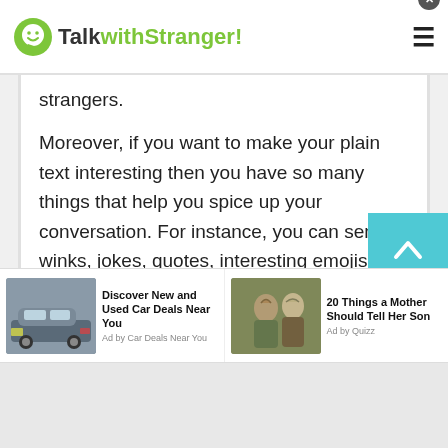TalkwithStranger!
strangers.
Moreover, if you want to make your plain text interesting then you have so many things that help you spice up your conversation. For instance, you can send winks, jokes, quotes, interesting emojis, GIFs or other animations just for free. Yes, simply go to the fun and joke page at TWS where you can explore a list of exciting jokes and send them to your online friends or family. Not only this, you can share or play online games via texting online.
[Figure (screenshot): Scroll to top arrow button in teal/cyan color]
[Figure (photo): Advertisement: Discover New and Used Car Deals Near You - Ad by Car Deals Near You, showing an SUV vehicle]
[Figure (photo): Advertisement: 20 Things a Mother Should Tell Her Son - Ad by Quizz, showing two people laughing outdoors]